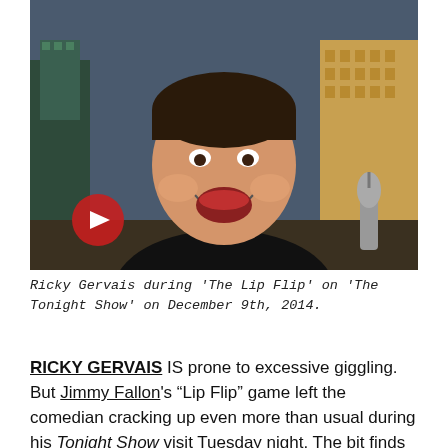[Figure (photo): Ricky Gervais seated, laughing, wearing a black top, appearing on The Tonight Show set with city skyline backdrop and a microphone visible. A red play button overlay is in the lower left of the image.]
Ricky Gervais during 'The Lip Flip' on 'The Tonight Show' on December 9th, 2014.
RICKY GERVAIS IS prone to excessive giggling. But Jimmy Fallon's "Lip Flip" game left the comedian cracking up even more than usual during his Tonight Show visit Tuesday night. The bit finds host and guest having their lips digitally swapped during a bizarre conversation, with Gervais' head imposed on Fallon's freshly